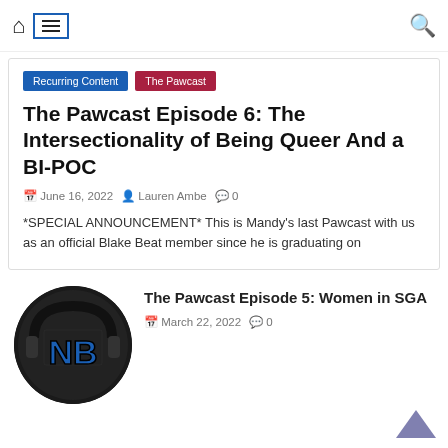Navigation bar with home icon, hamburger menu, and search icon
Recurring Content | The Pawcast
The Pawcast Episode 6: The Intersectionality of Being Queer And a BI-POC
June 16, 2022  Lauren Ambe  0
*SPECIAL ANNOUNCEMENT* This is Mandy's last Pawcast with us as an official Blake Beat member since he is graduating on
The Pawcast Episode 5: Women in SGA
March 22, 2022  0